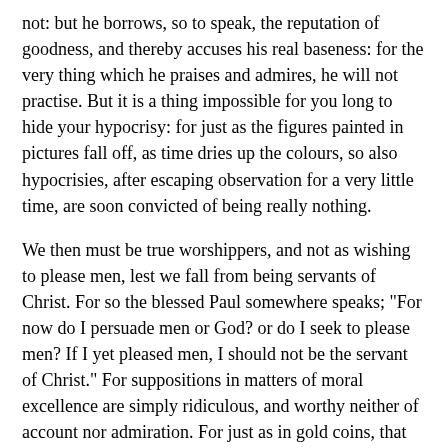not: but he borrows, so to speak, the reputation of goodness, and thereby accuses his real baseness: for the very thing which he praises and admires, he will not practise. But it is a thing impossible for you long to hide your hypocrisy: for just as the figures painted in pictures fall off, as time dries up the colours, so also hypocrisies, after escaping observation for a very little time, are soon convicted of being really nothing.
We then must be true worshippers, and not as wishing to please men, lest we fall from being servants of Christ. For so the blessed Paul somewhere speaks; "For now do I persuade men or God? or do I seek to please men? If I yet pleased men, I should not be the servant of Christ." For suppositions in matters of moral excellence are simply ridiculous, and worthy neither of account nor admiration. For just as in gold coins, that which is counterfeit and faulty is rejected, so the hypocrite is regarded with scorn both by God and men. But he who is |387 true meets with admiration; just, for instance, as Nathaniel, of whom Christ said, "Behold one truly an Israelite, in whom is no guile." He who is such is esteemed before God; he is counted worthy of crowns and honours; has a glorious hope given him; and is "a fellow-citizen with the saints, and of the household of God."
Let us therefore flee from the malady of hypocrisy: and may there rather dwell within us a pure and uncorrupt mind, resplendent with